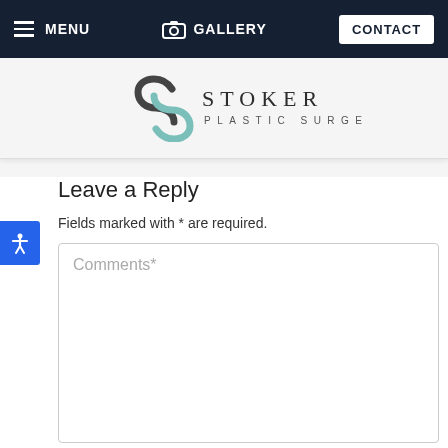MENU  GALLERY  CONTACT
[Figure (logo): Stoker Plastic Surgery logo with interlinked S-curve symbol in dark teal and grey, company name in spaced serif capitals]
Leave a Reply
Fields marked with * are required.
Comments*